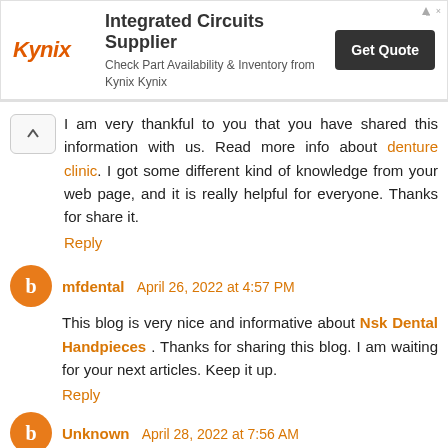[Figure (screenshot): Kynix advertisement banner: 'Integrated Circuits Supplier - Check Part Availability & Inventory from Kynix Kynix' with Get Quote button]
I am very thankful to you that you have shared this information with us. Read more info about denture clinic. I got some different kind of knowledge from your web page, and it is really helpful for everyone. Thanks for share it.
Reply
mfdental April 26, 2022 at 4:57 PM
This blog is very nice and informative about Nsk Dental Handpieces . Thanks for sharing this blog. I am waiting for your next articles. Keep it up.
Reply
Unknown April 28, 2022 at 7:56 AM
bitcoin nasil alinir